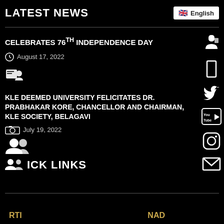LATEST NEWS
CELEBRATES 76th INDEPENDENCE DAY
August 17, 2022
KLE DEEMED UNIVERSITY FELICITATES Dr. PRABHAKAR KORE, CHANCELLOR AND CHAIRMAN, KLE SOCIETY, BELAGAVI
July 19, 2022
QUICK LINKS
RTI
NAD